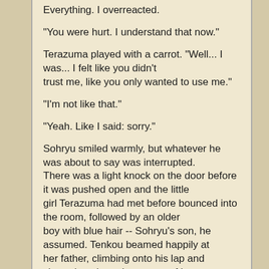Everything. I overreacted.
"You were hurt. I understand that now."
Terazuma played with a carrot. "Well... I was... I felt like you didn't trust me, like you only wanted to use me."
"I'm not like that."
"Yeah. Like I said: sorry."
Sohryu smiled warmly, but whatever he was about to say was interrupted. There was a light knock on the door before it was pushed open and the little girl Terazuma had met before bounced into the room, followed by an older boy with blue hair -- Sohryu's son, he assumed. Tenkou beamed happily at her father, climbing onto his lap and chattering about the events of her day.
Terazuma nodded a greeting as she waved at him, sending him a flashy